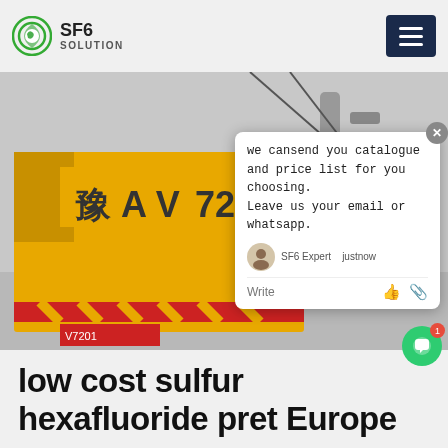SF6 SOLUTION
[Figure (photo): Industrial scene showing yellow truck (豫AV 7207) with workers in blue uniforms and hard hats operating SF6 gas equipment at an outdoor substation]
we cansend you catalogue and price list for you choosing. Leave us your email or whatsapp.
SF6 Expert   justnow
low cost sulfur hexafluoride pret Europe
Asia Pacific is a leading consumer of sulfur